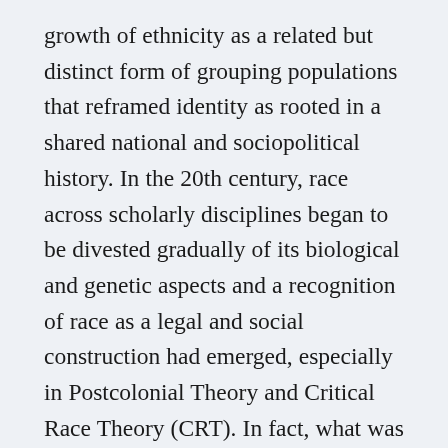growth of ethnicity as a related but distinct form of grouping populations that reframed identity as rooted in a shared national and sociopolitical history. In the 20th century, race across scholarly disciplines began to be divested gradually of its biological and genetic aspects and a recognition of race as a legal and social construction had emerged, especially in Postcolonial Theory and Critical Race Theory (CRT). In fact, what was viewed as “race” around 1900 (e.g., the Irish race, the Jewish race) came to be defined as “ethnicity” in the 20th century. For centuries, however, race has been used as a means for exercising power and control and as a defense of a racial caste system that privileges select groups. Through their many creative uses of memory and history